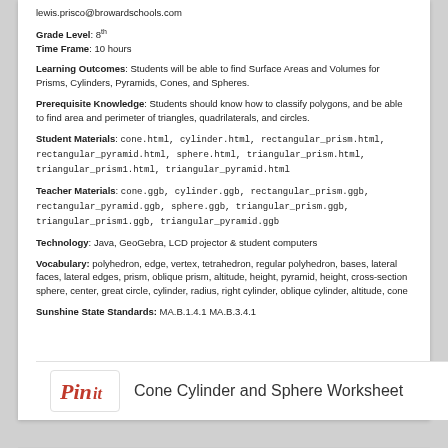lewis.prisco@browardschools.com
Grade Level: 8th
Time Frame: 10 hours
Learning Outcomes: Students will be able to find Surface Areas and Volumes for Prisms, Cylinders, Pyramids, Cones, and Spheres.
Prerequisite Knowledge: Students should know how to classify polygons, and be able to find area and perimeter of triangles, quadrilaterals, and circles.
Student Materials: cone.html, cylinder.html, rectangular_prism.html, rectangular_pyramid.html, sphere.html, triangular_prism.html, triangular_prism1.html, triangular_pyramid.html
Teacher Materials: cone.ggb, cylinder.ggb, rectangular_prism.ggb, rectangular_pyramid.ggb, sphere.ggb, triangular_prism.ggb, triangular_prism1.ggb, triangular_pyramid.ggb
Technology: Java, GeoGebra, LCD projector & student computers
Vocabulary: polyhedron, edge, vertex, tetrahedron, regular polyhedron, bases, lateral faces, lateral edges, prism, oblique prism, altitude, height, pyramid, height, cross-section sphere, center, great circle, cylinder, radius, right cylinder, oblique cylinder, altitude, cone
Sunshine State Standards: MA.B.1.4.1 MA.B.3.4.1
[Figure (logo): Pinterest Pin it logo button]
Cone Cylinder and Sphere Worksheet